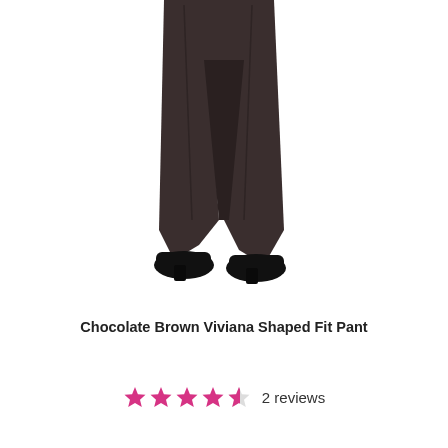[Figure (photo): Product photo of chocolate brown dress pants worn by a person, showing legs from waist down, with black shoes visible at the bottom, on a white background.]
Chocolate Brown Viviana Shaped Fit Pant
★★★★½ 2 reviews